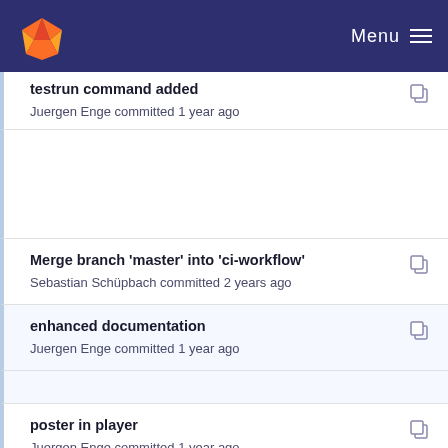GitLab — Menu
testrun command added
Juergen Enge committed 1 year ago
Merge branch 'master' into 'ci-workflow'
Sebastian Schüpbach committed 2 years ago
enhanced documentation
Juergen Enge committed 1 year ago
poster in player
Juergen Enge committed 1 year ago
enhanced documentation (partial, cut off)